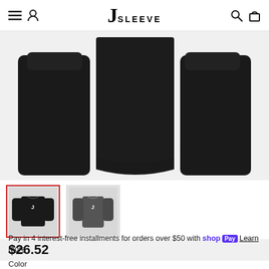J SLEEVE
[Figure (photo): Product photo of a black JSleeve hoodie/jacket, showing the back/detail view with sleeves extended on both sides against a light gray background.]
[Figure (photo): Thumbnail 1 (selected, red border): Black JSleeve hoodie front view with J logo on chest.]
[Figure (photo): Thumbnail 2: Dark gray JSleeve hoodie front view with J logo on chest.]
$26.52
Pay in 4 interest-free installments for orders over $50 with shop Pay Learn more
Color